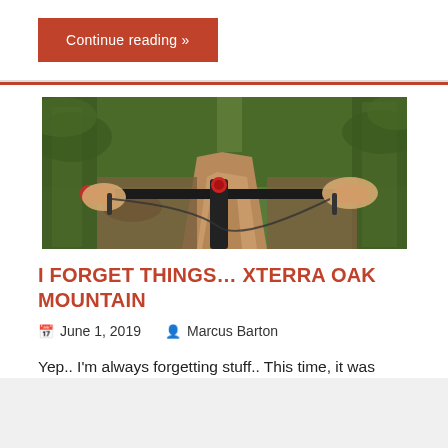Continue reading »
[Figure (photo): First-person view of mountain biking on a dirt trail through a forest, showing handlebars and a hand gripping the right handle, with trees and undergrowth on both sides.]
I FORGET THINGS… XTERRA OAK MOUNTAIN
June 1, 2019   Marcus Barton
Yep.. I'm always forgetting stuff.. This time, it was